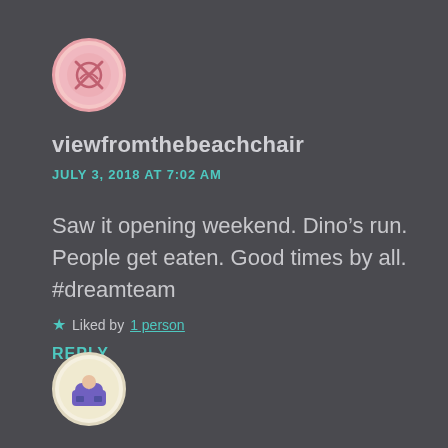[Figure (illustration): Circular avatar with pink/coral border showing a logo illustration on dark background]
viewfromthebeachchair
JULY 3, 2018 AT 7:02 AM
Saw it opening weekend. Dino’s run. People get eaten. Good times by all. #dreamteam
★ Liked by 1 person
REPLY
[Figure (illustration): Circular avatar with cream/beige border showing a small illustration of a person on a couch]